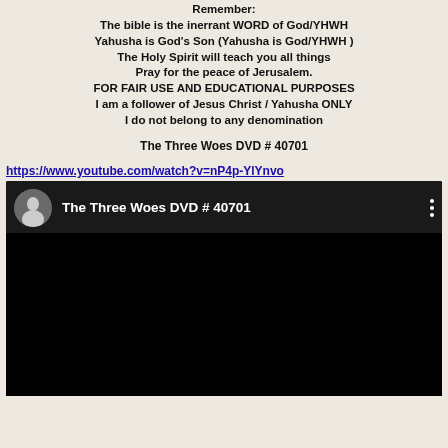Remember:
The bible is the inerrant WORD of God/YHWH
Yahusha is God's Son (Yahusha is God/YHWH )
The Holy Spirit will teach you all things
Pray for the peace of Jerusalem.
FOR FAIR USE AND EDUCATIONAL PURPOSES
I am a follower of Jesus Christ / Yahusha ONLY
I do not belong to any denomination
The Three Woes DVD # 40701
https://www.youtube.com/watch?v=nP4p-YlYnvo
[Figure (screenshot): YouTube video thumbnail showing 'The Three Woes DVD # 40701' with a circular avatar icon on left, title text in white on dark background, and three vertical dots menu icon on right. Below the header is a black video area.]